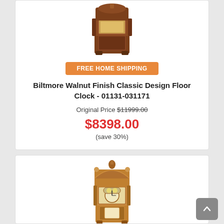[Figure (photo): Biltmore walnut finish classic design floor clock product image, top portion visible, dark brown ornate grandfather clock]
FREE HOME SHIPPING
Biltmore Walnut Finish Classic Design Floor Clock - 01131-031171
Original Price $11999.00
$8398.00
(save 30%)
[Figure (photo): Second floor clock product image, lighter oak/honey finish grandfather clock with bonnet top and pendulum window visible]